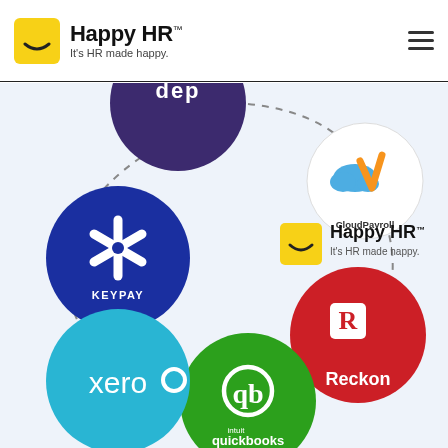[Figure (logo): Happy HR logo with yellow square containing smiley face, bold text 'Happy HR' with TM mark, and tagline 'It's HR made happy.']
[Figure (infographic): Circular dashed-line diagram showing Happy HR integrations: ADP (dark purple circle, partially visible top), CloudPayroll (white circle with blue/orange checkmark icon), Reckon (red circle with R logo), QuickBooks (green circle with QB logo), Xero (cyan circle with Xero logo), KeyPay (dark blue circle with asterisk). Happy HR logo is centered in the diagram.]